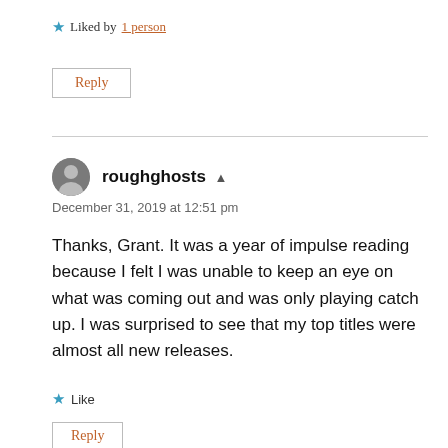★ Liked by 1 person
Reply
roughghosts ▲
December 31, 2019 at 12:51 pm
Thanks, Grant. It was a year of impulse reading because I felt I was unable to keep an eye on what was coming out and was only playing catch up. I was surprised to see that my top titles were almost all new releases.
★ Like
Reply